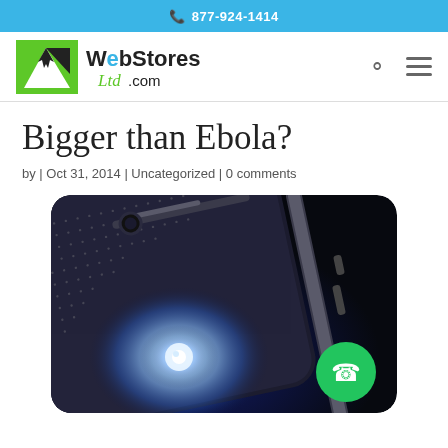877-924-1414
[Figure (logo): WebStores Ltd.com logo with green triangle and cursor icon]
Bigger than Ebola?
by | Oct 31, 2014 | Uncategorized | 0 comments
[Figure (photo): Close-up photo of a smartphone with a bright light/flash glowing from the back, dark blue background, metallic body]